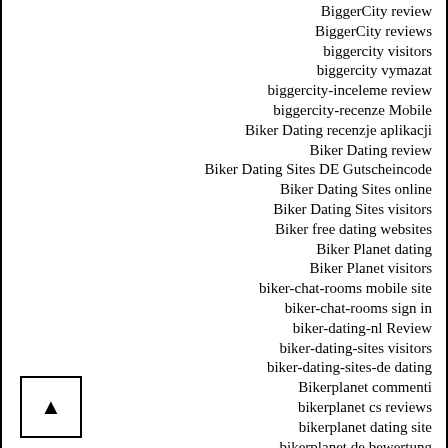BiggerCity review
BiggerCity reviews
biggercity visitors
biggercity vymazat
biggercity-inceleme review
biggercity-recenze Mobile
Biker Dating recenzje aplikacji
Biker Dating review
Biker Dating Sites DE Gutscheincode
Biker Dating Sites online
Biker Dating Sites visitors
Biker free dating websites
Biker Planet dating
Biker Planet visitors
biker-chat-rooms mobile site
biker-chat-rooms sign in
biker-dating-nl Review
biker-dating-sites visitors
biker-dating-sites-de dating
Bikerplanet commenti
bikerplanet cs reviews
bikerplanet dating site
bikerplanet de bewertung
bikerplanet de reviews
Bikerplanet frauen app
Bikerplanet meet site
Bikerplanet meetic